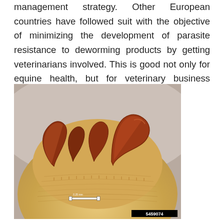management strategy. Other European countries have followed suit with the objective of minimizing the development of parasite resistance to deworming products by getting veterinarians involved. This is good not only for equine health, but for veterinary business health as well.
[Figure (photo): Close-up photograph of a parasitic worm (botfly larva or similar equine parasite) showing curved, reddish-brown hook-like structures against a pale yellowish-orange body. A scale bar labeled '0.25 mm' is visible in the image, along with an image ID '5459074' in the bottom right corner.]